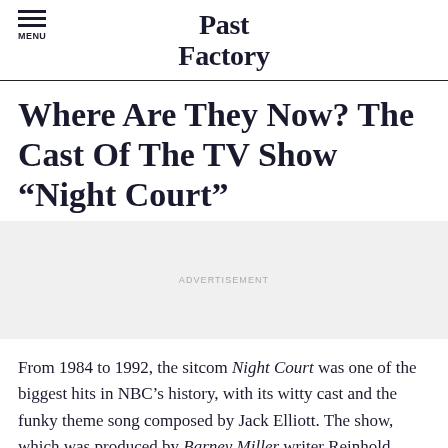MENU | Past Factory
Where Are They Now? The Cast Of The TV Show “Night Court”
[Figure (other): Advertisement placeholder block with light gray background and 'ADVERTISEMENT' label text]
From 1984 to 1992, the sitcom Night Court was one of the biggest hits in NBC’s history, with its witty cast and the funky theme song composed by Jack Elliott. The show, which was produced by Barney Miller writer Reinhold Weege, was nominated for 31 Emmy